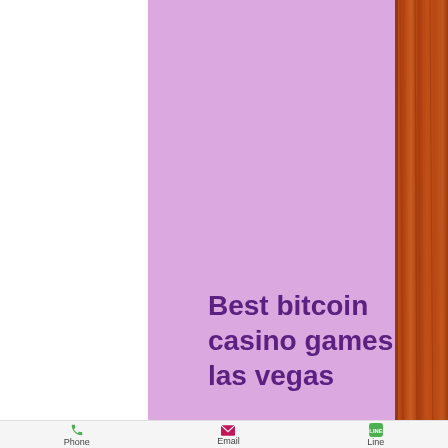[Figure (screenshot): Mobile app screenshot showing a lavender/pink background content area on the left-center, a wood-textured sidebar on the right, and a bottom navigation bar with Phone, Email, and Line icons.]
Best bitcoin casino games las vegas
Phone  Email  Line